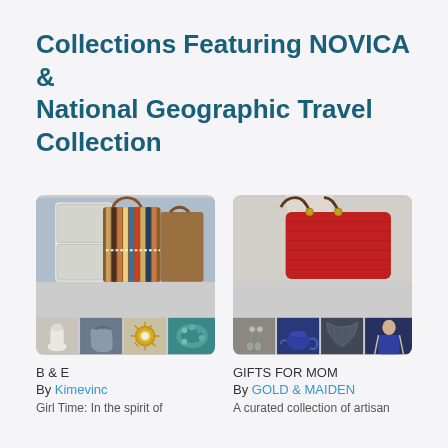Collections Featuring NOVICA & National Geographic Travel Collection
[Figure (photo): Collection card for B & E by Kimevinc showing striped bags, white vase, gray purse, sunburst mirror, and teal bracelet]
B & E
By Kimevinc
Girl Time: In the spirit of
[Figure (photo): Collection card for GIFTS FOR MOM by GOLD & MAIDEN showing red handbag on mannequin, earrings, blue teapot, dark scarf, and woman in apron]
GIFTS FOR MOM
By GOLD & MAIDEN
A curated collection of artisan